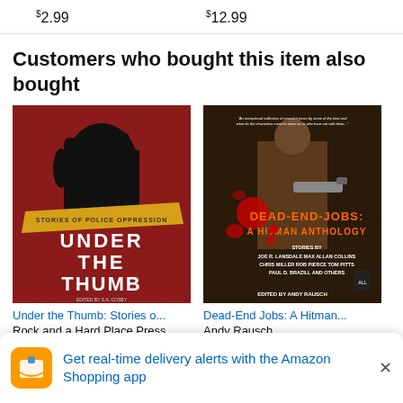$2.99   $12.99
Customers who bought this item also bought
[Figure (photo): Book cover: Under the Thumb: Stories of Police Oppression, edited by S.A. Cosby. Red background with a raised black fist and yellow banner with subtitle text.]
[Figure (photo): Book cover: Dead-End Jobs: A Hitman Anthology, edited by Andy Rausch. Dark cover with a figure holding a gun and red splatter. Stories by Joe R. Lansdale, Max Allan Collins, Chris Miller, Rob Pierce, Tom Pitts, Paul D. Brazill and others.]
Under the Thumb: Stories o...
Rock and a Hard Place Press
Dead-End Jobs: A Hitman...
Andy Rausch
Get real-time delivery alerts with the Amazon Shopping app